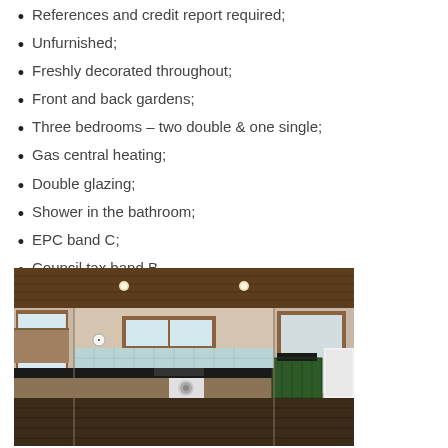References and credit report required;
Unfurnished;
Freshly decorated throughout;
Front and back gardens;
Three bedrooms – two double & one single;
Gas central heating;
Double glazing;
Shower in the bathroom;
EPC band C;
Council tax band B.
[Figure (photo): Interior kitchen photo showing wooden ceiling with recessed lighting, wooden cabinets, black countertops, a window, washing machine, and a green tiled cooker on the right side.]